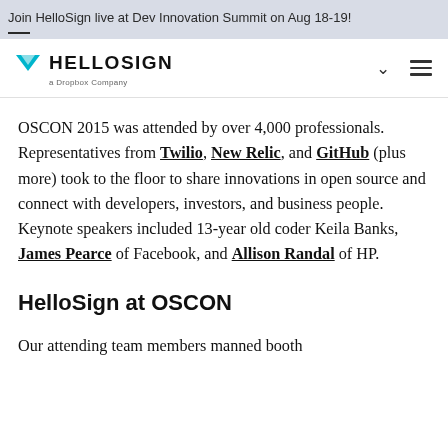Join HelloSign live at Dev Innovation Summit on Aug 18-19!
[Figure (logo): HelloSign logo with teal/cyan downward-pointing triangle and 'HELLOSIGN' text, 'a Dropbox Company' subtitle, with navigation chevron and hamburger menu icons]
OSCON 2015 was attended by over 4,000 professionals. Representatives from Twilio, New Relic, and GitHub (plus more) took to the floor to share innovations in open source and connect with developers, investors, and business people. Keynote speakers included 13-year old coder Keila Banks, James Pearce of Facebook, and Allison Randal of HP.
HelloSign at OSCON
Our attending team members manned booth